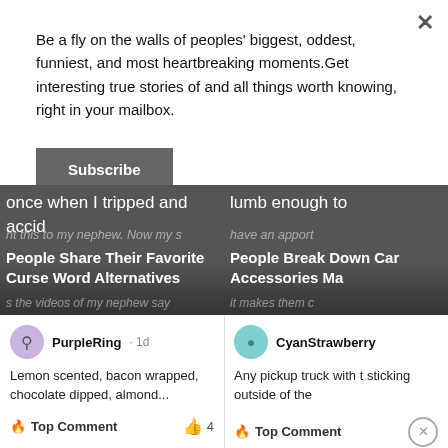Be a fly on the walls of peoples' biggest, oddest, funniest, and most heartbreaking moments.Get interesting true stories of and all things worth knowing, right in your mailbox.
Subscribe
[Figure (screenshot): Card image with dark background showing partial text 'once when I tripped and accid' and title 'People Share Their Favorite Curse Word Alternatives']
PurpleRing · 1d
Lemon scented, bacon wrapped, chocolate dipped, almond...
Top Comment  4
[Figure (screenshot): Card image with dark background showing partial text 'lumb enough to' and title 'People Break Down Car Accessories Ma']
CyanStrawberry
Any pickup truck with t sticking outside of the
Top Comment